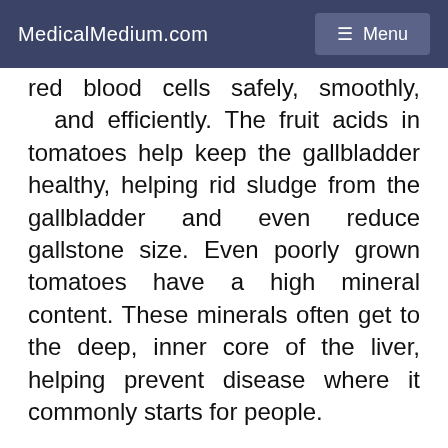MedicalMedium.com  ☰ Menu
red blood cells safely, smoothly, and efficiently. The fruit acids in tomatoes help keep the gallbladder healthy, helping rid sludge from the gallbladder and even reduce gallstone size. Even poorly grown tomatoes have a high mineral content. These minerals often get to the deep, inner core of the liver, helping prevent disease where it commonly starts for people.
Potatoes: Abundant in amino acids that specifically inhibit viral growth. Potatoes are